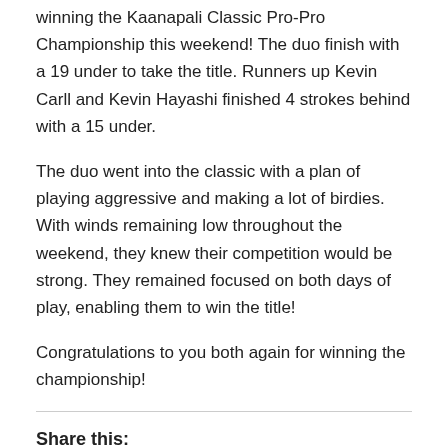winning the Kaanapali Classic Pro-Pro Championship this weekend! The duo finish with a 19 under to take the title. Runners up Kevin Carll and Kevin Hayashi finished 4 strokes behind with a 15 under.
The duo went into the classic with a plan of playing aggressive and making a lot of birdies. With winds remaining low throughout the weekend, they knew their competition would be strong. They remained focused on both days of play, enabling them to win the title!
Congratulations to you both again for winning the championship!
Share this:
Share